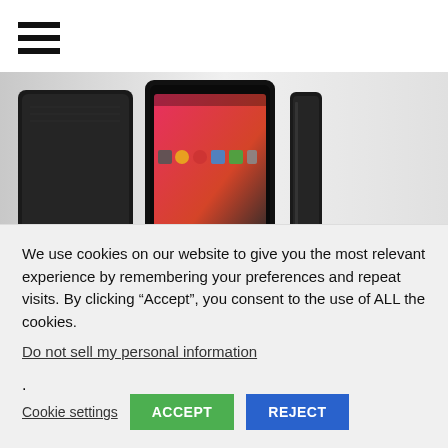[Figure (screenshot): Hamburger menu icon (three horizontal lines) in top left corner]
[Figure (photo): Hero image showing Nexus 7 tablets (black Android tablets) on a white/gray gradient background]
The Nexus 7 2 release is likely to happen but we cannot base this on
We use cookies on our website to give you the most relevant experience by remembering your preferences and repeat visits. By clicking “Accept”, you consent to the use of ALL the cookies.
Do not sell my personal information.
Cookie settings  ACCEPT  REJECT